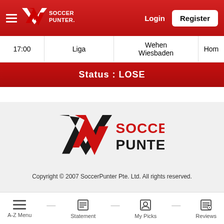[Figure (logo): SoccerPunter logo in white on red header bar, with hamburger menu, Login text and Register button]
| Time | League | Team | Result |
| --- | --- | --- | --- |
| 17:00 | Liga | Wehen Wiesbaden | Hom |
Status : LOSE
[Figure (logo): SoccerPunter logo (large, black and red) in footer section]
Copyright © 2007 SoccerPunter Pte. Ltd. All rights reserved.
A-Z Menu  —  Statement  —  My Picks  —  Reviews